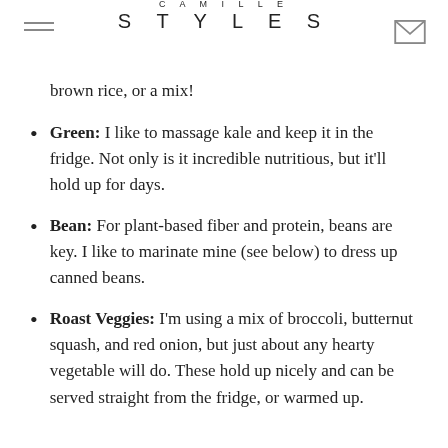CAMILLE STYLES
brown rice, or a mix!
Green: I like to massage kale and keep it in the fridge. Not only is it incredible nutritious, but it'll hold up for days.
Bean: For plant-based fiber and protein, beans are key. I like to marinate mine (see below) to dress up canned beans.
Roast Veggies: I'm using a mix of broccoli, butternut squash, and red onion, but just about any hearty vegetable will do. These hold up nicely and can be served straight from the fridge, or warmed up.